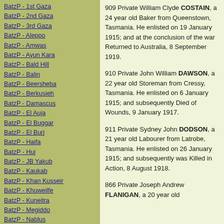BatzP - 1st Gaza
BatzP - 2nd Gaza
BatzP - 3rd Gaza
BatzP - Aleppo
BatzP - Amwas
BatzP - Ayun Kara
BatzP - Bald Hill
BatzP - Balin
BatzP - Beersheba
BatzP - Berkusieh
BatzP - Damascus
BatzP - El Auja
BatzP - El Buggar
BatzP - El Burj
BatzP - Haifa
BatzP - Huj
BatzP - JB Yakub
BatzP - Kaukab
BatzP - Khan Kusseir
BatzP - Khuweilfe
BatzP - Kuneitra
BatzP - Megiddo
BatzP - Nablus
BatzP - Rafa
BatzP - Sasa
BatzP - Semakh
BatzP - Sheria
BatzP - Surafend
909 Private William Clyde COSTAIN, a 24 year old Baker from Queenstown, Tasmania. He enlisted on 19 January 1915; and at the conclusion of the war Returned to Australia, 8 September 1919.
910 Private John William DAWSON, a 22 year old Storeman from Cressy, Tasmania. He enlisted on 6 January 1915; and subsequently Died of Wounds, 9 January 1917.
911 Private Sydney John DODSON, a 21 year old Labourer from Latrobe, Tasmania. He enlisted on 26 January 1915; and subsequently was Killed in Action, 8 August 1918.
866 Private Joseph Andrew FLANIGAN, a 20 year old